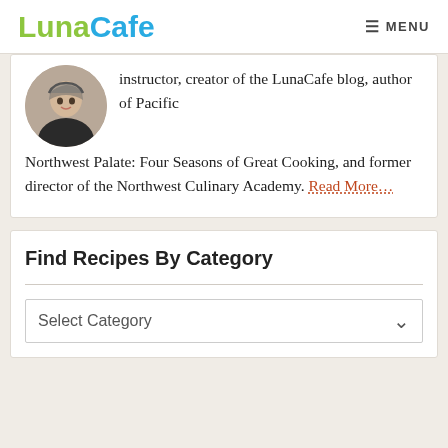LunaCafe  MENU
instructor, creator of the LunaCafe blog, author of Pacific Northwest Palate: Four Seasons of Great Cooking, and former director of the Northwest Culinary Academy. Read More...
Find Recipes By Category
Select Category